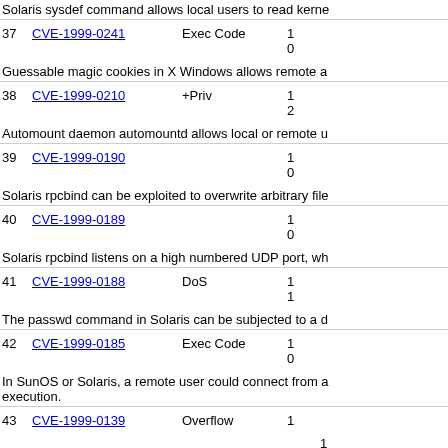Solaris sysdef command allows local users to read kerne
37 CVE-1999-0241  Exec Code  1
0
Guessable magic cookies in X Windows allows remote a
38 CVE-1999-0210  +Priv  1
2
Automount daemon automountd allows local or remote u
39 CVE-1999-0190  1
0
Solaris rpcbind can be exploited to overwrite arbitrary file
40 CVE-1999-0189  1
0
Solaris rpcbind listens on a high numbered UDP port, wh
41 CVE-1999-0188  DoS  1
1
The passwd command in Solaris can be subjected to a d
42 CVE-1999-0185  Exec Code  1
0
In SunOS or Solaris, a remote user could connect from a execution.
43 CVE-1999-0139  Overflow  1
1